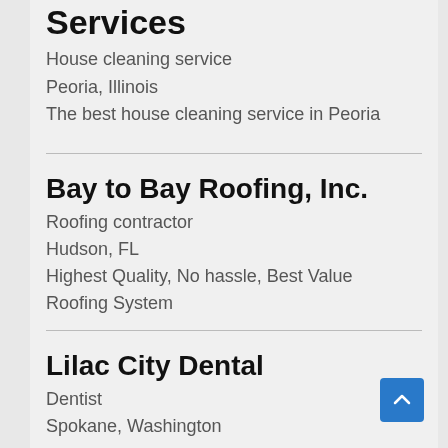Services
House cleaning service
Peoria, Illinois
The best house cleaning service in Peoria
Bay to Bay Roofing, Inc.
Roofing contractor
Hudson, FL
Highest Quality, No hassle, Best Value Roofing System
Lilac City Dental
Dentist
Spokane, Washington